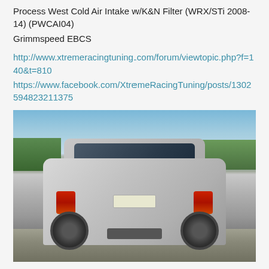Process West Cold Air Intake w/K&N Filter (WRX/STi 2008-14) (PWCAI04)
Grimmspeed EBCS
http://www.xtremeracingtuning.com/forum/viewtopic.php?f=140&t=810
https://www.facebook.com/XtremeRacingTuning/posts/13025948 23211375
[Figure (photo): Rear view of a silver Subaru Forester SUV parked on a road with trees and blue sky in the background.]